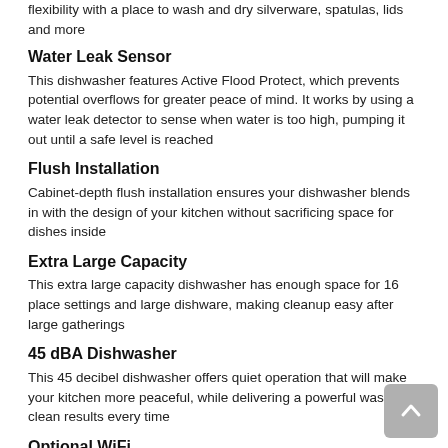flexibility with a place to wash and dry silverware, spatulas, lids and more
Water Leak Sensor
This dishwasher features Active Flood Protect, which prevents potential overflows for greater peace of mind. It works by using a water leak detector to sense when water is too high, pumping it out until a safe level is reached
Flush Installation
Cabinet-depth flush installation ensures your dishwasher blends in with the design of your kitchen without sacrificing space for dishes inside
Extra Large Capacity
This extra large capacity dishwasher has enough space for 16 place settings and large dishware, making cleanup easy after large gatherings
45 dBA Dishwasher
This 45 decibel dishwasher offers quiet operation that will make your kitchen more peaceful, while delivering a powerful wash for clean results every time
Optional WiFi